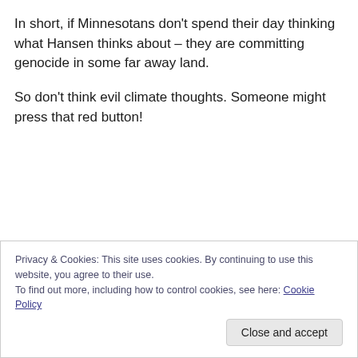In short, if Minnesotans don't spend their day thinking what Hansen thinks about – they are committing genocide in some far away land.
So don't think evil climate thoughts. Someone might press that red button!
Privacy & Cookies: This site uses cookies. By continuing to use this website, you agree to their use. To find out more, including how to control cookies, see here: Cookie Policy
Close and accept
he Woodwork